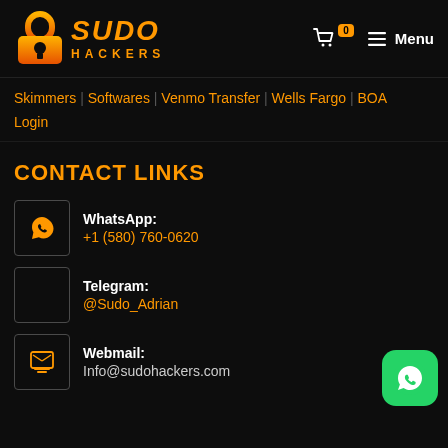[Figure (logo): Sudo Hackers logo with orange padlock icon and stylized orange text 'SUDO HACKERS']
☰ Menu
Skimmers | Softwares | Venmo Transfer | Wells Fargo | BOA Login
CONTACT LINKS
WhatsApp: +1 (580) 760-0620
Telegram: @Sudo_Adrian
Webmail: Info@sudohackers.com